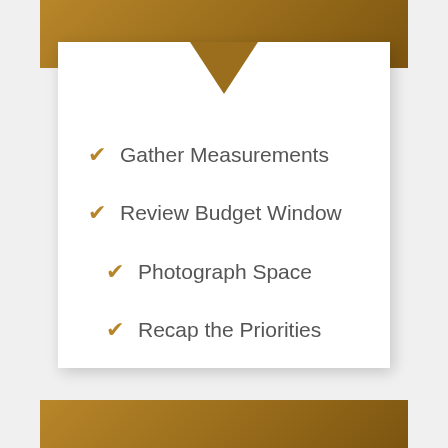Gather Measurements
Review Budget Window
Photograph Space
Recap the Priorities